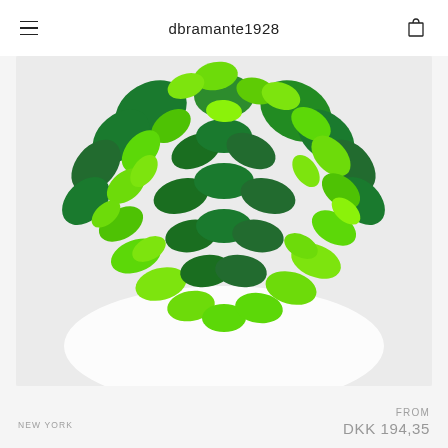dbramante1928
[Figure (photo): Close-up of a heart shape made of green braided leaves/yarn, showing various shades of green from dark to bright lime, on a white/light grey background]
NEW YORK
FROM
DKK 194,35